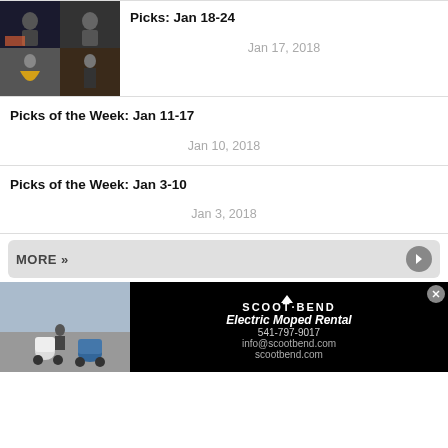[Figure (photo): Photo collage for Picks: Jan 18-24 article showing performers]
Picks: Jan 18-24
Jan 17, 2018
Picks of the Week: Jan 11-17
Jan 10, 2018
Picks of the Week: Jan 3-10
Jan 3, 2018
MORE »
[Figure (photo): Advertisement for Scoot Bend Electric Moped Rental showing scooters and contact info: 541-797-9017, info@scootbend.com, scootbend.com]